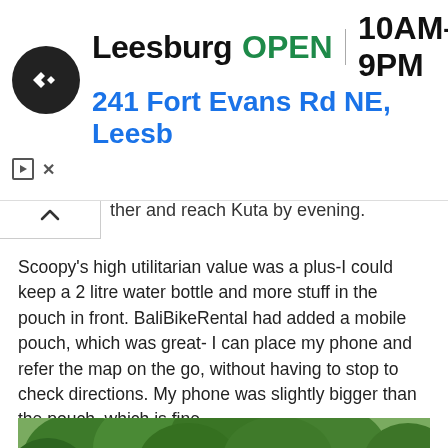[Figure (screenshot): Google Maps / local business ad banner showing: circular black logo with double arrow symbol, text 'Leesburg OPEN | 10AM–9PM', address '241 Fort Evans Rd NE, Leesb', blue navigation arrow icon on the right, play button and X controls below left]
ther and reach Kuta by evening.
Scoopy's high utilitarian value was a plus-I could keep a 2 litre water bottle and more stuff in the pouch in front. BaliBikeRental had added a mobile pouch, which was great- I can place my phone and refer the map on the go, without having to stop to check directions. My phone was slightly bigger than the pouch, which is fine.
[Figure (photo): Photograph taken from the seat of a scooter/motorcycle showing the handlebars with two rear-view mirrors, a phone in a mount/pouch holder, and a scenic road with wooden railing fence and green trees in the background]